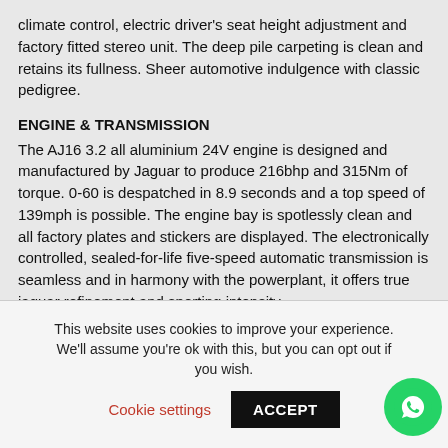climate control, electric driver's seat height adjustment and factory fitted stereo unit. The deep pile carpeting is clean and retains its fullness. Sheer automotive indulgence with classic pedigree.
ENGINE & TRANSMISSION
The AJ16 3.2 all aluminium 24V engine is designed and manufactured by Jaguar to produce 216bhp and 315Nm of torque. 0-60 is despatched in 8.9 seconds and a top speed of 139mph is possible. The engine bay is spotlessly clean and all factory plates and stickers are displayed. The electronically controlled, sealed-for-life five-speed automatic transmission is seamless and in harmony with the powerplant, it offers true jaguar refinement and sporting intensity.
This website uses cookies to improve your experience. We'll assume you're ok with this, but you can opt out if you wish. Cookie settings ACCEPT